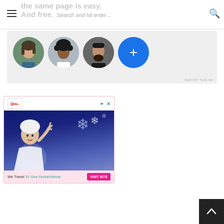the same page is easy. And free. Search and hit enter…
[Figure (screenshot): Website header with hamburger menu, tagline 'the same page is easy. And free.', search box with placeholder text 'Search and hit enter…', and search icon]
[Figure (screenshot): Ad banner showing three profile photo avatars (woman with short hair, woman with curly hair, man with beard) and a blue circle with plus sign, on light gray background. 'REPORT THIS AD' text at bottom right.]
[Figure (screenshot): Advertisement with pink background showing a glamorous woman in white with raised hand against winter/snow blue background. Text 'We Travel To Your Home/Venue' and 'VISIT SITE' pink button. Ad controls (play and X icons) visible at top.]
[Figure (screenshot): Dark back-to-top button with upward chevron arrow in bottom right corner]